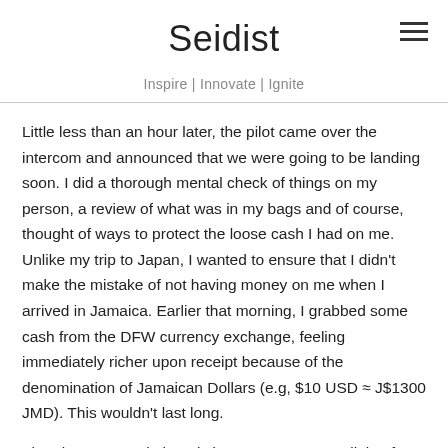Seidist
Inspire | Innovate | Ignite
Little less than an hour later, the pilot came over the intercom and announced that we were going to be landing soon. I did a thorough mental check of things on my person, a review of what was in my bags and of course, thought of ways to protect the loose cash I had on me. Unlike my trip to Japan, I wanted to ensure that I didn't make the mistake of not having money on me when I arrived in Jamaica. Earlier that morning, I grabbed some cash from the DFW currency exchange, feeling immediately richer upon receipt because of the denomination of Jamaican Dollars (e.g, $10 USD ≈ J$1300 JMD). This wouldn't last long.
The plane coasted gingerly into Montego Bay a little after noon. Even with the sun beaming down, the scenery was remarkable